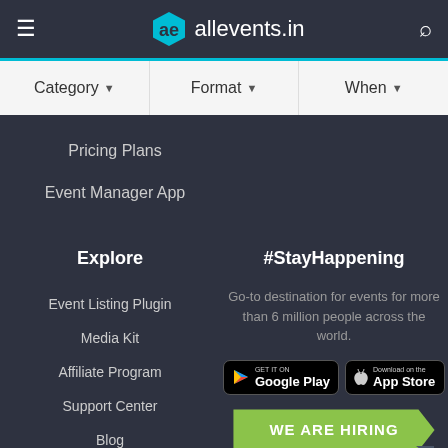allevents.in
Category ▾   Format ▾   When ▾
Pricing Plans
Event Manager App
Explore
Event Listing Plugin
Media Kit
Affiliate Program
Support Center
Blog
#StayHappening
Go-to destination for events for more than 6 million people across the world.
[Figure (screenshot): Google Play and App Store download badges]
WE ARE HIRING